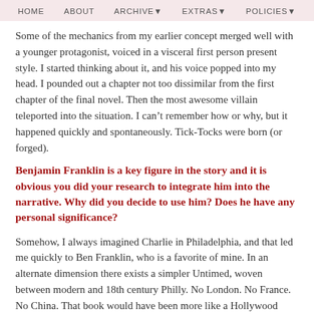HOME   ABOUT   ARCHIVE▾   EXTRAS▾   POLICIES▾
Some of the mechanics from my earlier concept merged well with a younger protagonist, voiced in a visceral first person present style. I started thinking about it, and his voice popped into my head. I pounded out a chapter not too dissimilar from the first chapter of the final novel. Then the most awesome villain teleported into the situation. I can't remember how or why, but it happened quickly and spontaneously. Tick-Tocks were born (or forged).
Benjamin Franklin is a key figure in the story and it is obvious you did your research to integrate him into the narrative. Why did you decide to use him? Does he have any personal significance?
Somehow, I always imagined Charlie in Philadelphia, and that led me quickly to Ben Franklin, who is a favorite of mine. In an alternate dimension there exists a simpler Untimed, woven between modern and 18th century Philly. No London. No France. No China. That book would have been more like a Hollywood story, all packaged up neat and clean, but neat and clean isn't the Andy Gavin style.
I was reading several Ben Franklin biographies, his own autobiography, etc. and I noticed he was in London as a you